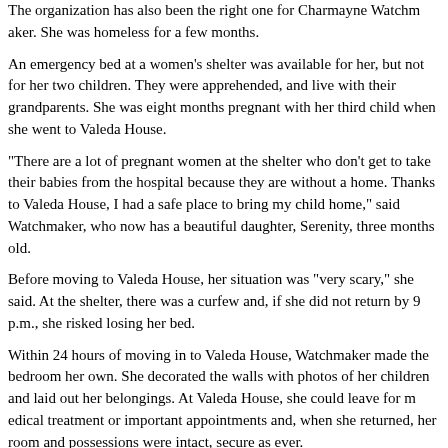The organization has also been the right one for Charmayne Watchmaker. She was homeless for a few months.
An emergency bed at a women's shelter was available for her, but not for her two children. They were apprehended, and live with their grandparents. She was eight months pregnant with her third child when she went to Valeda House.
"There are a lot of pregnant women at the shelter who don't get to take their babies from the hospital because they are without a home. Thanks to Valeda House, I had a safe place to bring my child home," said Watchmaker, who now has a beautiful daughter, Serenity, three months old.
Before moving to Valeda House, her situation was "very scary," she said. At the shelter, there was a curfew and, if she did not return by 9 p.m., she risked losing her bed.
Within 24 hours of moving in to Valeda House, Watchmaker made the bedroom her own. She decorated the walls with photos of her children and laid out her belongings. At Valeda House, she could leave for medical treatment or important appointments and, when she returned, her room and possessions were intact, secure as ever.
"All of the women have their own problems, but coming here we have the same focus: staying clean and wanting a safe place to come home to," said Watchmaker.
At Valeda House she could have visitations from her children. There is a playroom and a backyard like a typical family home.